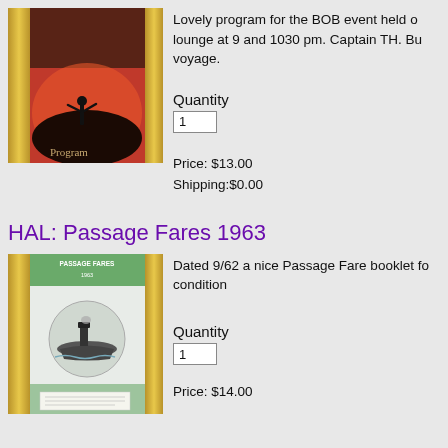[Figure (photo): Thumbnail image of a program booklet cover with red background showing a silhouette of a conductor with gold bar borders on left and right]
Lovely program for the BOB event held o lounge at 9 and 1030 pm. Captain TH. Bu voyage.
Quantity
1
Price: $13.00
Shipping:$0.00
HAL: Passage Fares 1963
[Figure (photo): Thumbnail of HAL Passage Fares 1963 booklet cover showing a ship, with gold bar borders on left and right]
Dated 9/62 a nice Passage Fare booklet fo condition
Quantity
1
Price: $14.00